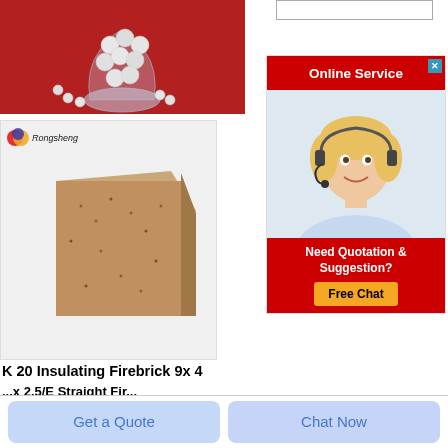[Figure (photo): White ceramic beads/balls in a glass vase on a red background]
[Figure (photo): Rongsheng branded insulating firebrick - rectangular tan/brown textured brick on white background]
K 20 Insulating Firebrick 9x 4
[Figure (screenshot): Online Service widget with red header, photo of female customer service agent wearing headset, 'Need Quotation & Suggestion?' text, and 'Free Chat' yellow button]
Get a Quote
Chat Now